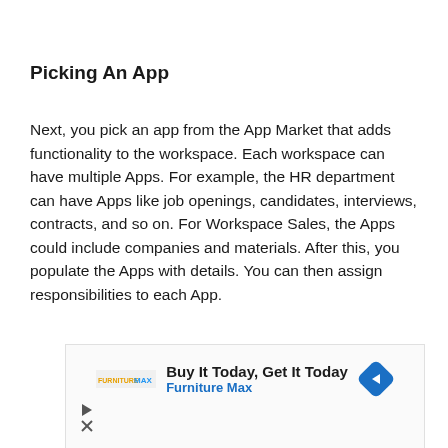Picking An App
Next, you pick an app from the App Market that adds functionality to the workspace. Each workspace can have multiple Apps. For example, the HR department can have Apps like job openings, candidates, interviews, contracts, and so on. For Workspace Sales, the Apps could include companies and materials. After this, you populate the Apps with details. You can then assign responsibilities to each App.
[Figure (other): Advertisement banner for Furniture Max: 'Buy It Today, Get It Today' with a navigation arrow icon and the Furniture Max logo. Contains play and close controls at bottom left.]